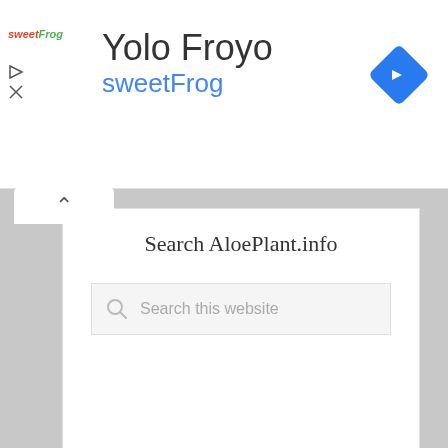[Figure (screenshot): Ad banner for Yolo Froyo sweetFrog with logo, title, subtitle, and navigation arrow]
Search AloePlant.info
[Figure (screenshot): Search box with magnifying glass icon and placeholder text 'Search this website']
Connect with Us!
[Figure (screenshot): Two gray icon buttons: envelope/email icon and Facebook 'f' icon]